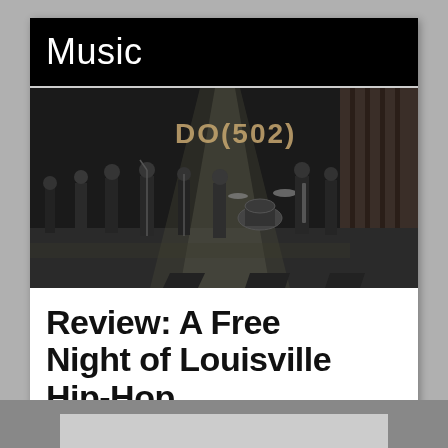Music
[Figure (photo): Concert photo showing a band performing on a dimly lit stage with the text 'DO(502)' projected in the background. Multiple musicians visible with various instruments. Black and white/monochrome tone.]
Review: A Free Night of Louisville Hip-Hop